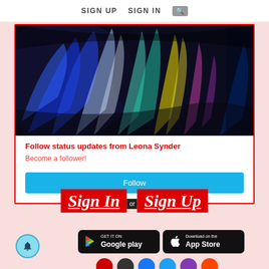SIGN UP   SIGN IN   🔍
[Figure (photo): Abstract colorful painting with dark background, blues, yellows, greens — profile/banner image for Leona Synder]
Follow status updates from Leona Synder
Become a follower!
Follow
Sign In or Sign Up
[Figure (screenshot): Google Play store download badge]
[Figure (screenshot): Apple App Store download badge]